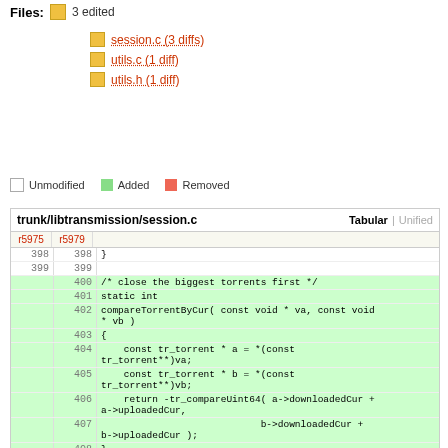Files: 3 edited
session.c (3 diffs)
utils.c (1 diff)
utils.h (1 diff)
Unmodified   Added   Removed
[Figure (screenshot): Code diff view of trunk/libtransmission/session.c showing added lines 400-409 with compareTorrentByCur function and context lines 398-399, 410-411]
| r5975 | r5979 | code |
| --- | --- | --- |
| 398 | 398 | } |
| 399 | 399 |  |
|  | 400 | /* close the biggest torrents first */ |
|  | 401 | static int |
|  | 402 | compareTorrentByCur( const void * va, const void |
|  |  | * vb ) |
|  | 403 | { |
|  | 404 |     const tr_torrent * a = *(const |
|  |  | tr_torrent**)va; |
|  | 405 |     const tr_torrent * b = *(const |
|  |  | tr_torrent**)vb; |
|  | 406 |     return -tr_compareUint64( a->downloadedCur + |
|  |  | a->uploadedCur, |
|  | 407 |                             b->downloadedCur + |
|  |  | b->uploadedCur ); |
|  | 408 | } |
|  | 409 |  |
| 400 | 410 | static void |
| 401 | 411 | tr_closeAllConnections( void * vh ) |
| ... | ... |  |